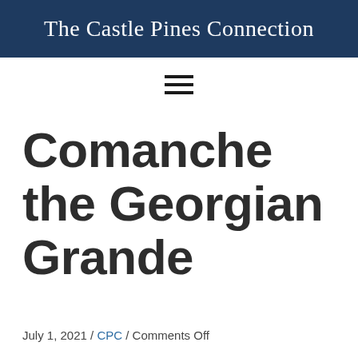The Castle Pines Connection
[Figure (other): Hamburger menu icon (three horizontal lines)]
Comanche the Georgian Grande
July 1, 2021 / CPC / Comments Off